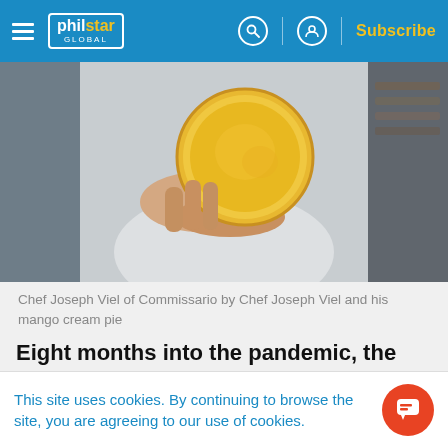philstar GLOBAL — Subscribe
[Figure (photo): Person in white shirt holding a round mango cream pie up to the camera, blurred background]
Chef Joseph Viel of Commissario by Chef Joseph Viel and his mango cream pie
Eight months into the pandemic, the restaurant industry is still bleeding. While some restaurateurs are still struggling to stay afloat –
This site uses cookies. By continuing to browse the site, you are agreeing to our use of cookies.